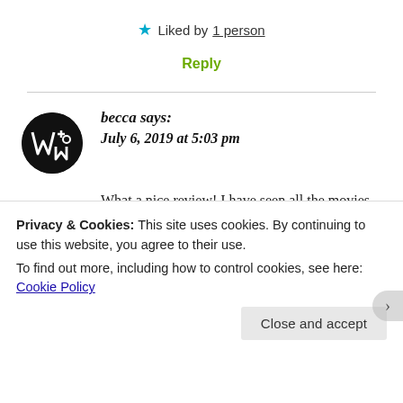★ Liked by 1 person
Reply
becca says:
July 6, 2019 at 5:03 pm
What a nice review! I have seen all the movies but never read the books (true Harry Potter fans would call this treason) and it's nice to know that
Privacy & Cookies: This site uses cookies. By continuing to use this website, you agree to their use.
To find out more, including how to control cookies, see here: Cookie Policy
Close and accept